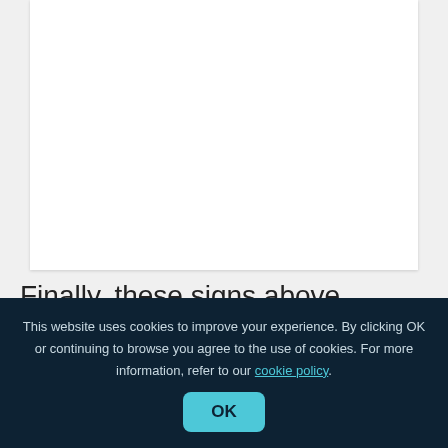[Figure (other): White document/page area on light grey background, upper portion of page]
Finally, these signs above simple receptacles mounted on to street lights allow for no question what their use is!
This website uses cookies to improve your experience. By clicking OK or continuing to browse you agree to the use of cookies. For more information, refer to our cookie policy.